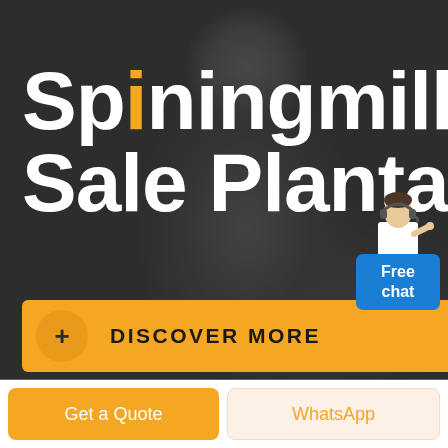[Figure (photo): Dark background with blurred image of a person wearing glasses, overlaid with dark semi-transparent overlay]
Spiningmill Sale Planta
[Figure (infographic): Free chat widget with illustrated customer service person and blue podium saying 'Free chat']
+ DISCOVER MORE
Get a Quote
WhatsApp